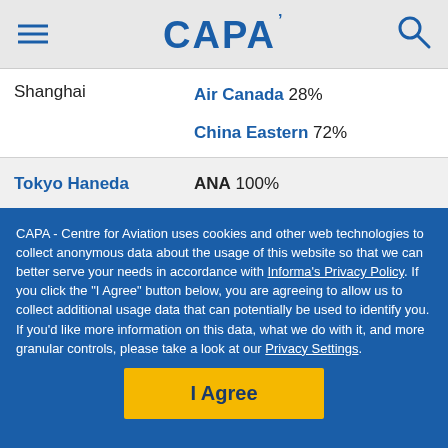CAPA
| City | Airline | Share |
| --- | --- | --- |
| Shanghai | Air Canada | 28% |
| Shanghai | China Eastern | 72% |
| Tokyo Haneda | ANA | 100% |
|  | Air Canada | 56% |
CAPA - Centre for Aviation uses cookies and other web technologies to collect anonymous data about the usage of this website so that we can better serve your needs in accordance with Informa's Privacy Policy. If you click the "I Agree" button below, you are agreeing to allow us to collect additional usage data that can potentially be used to identify you. If you'd like more information on this data, what we do with it, and more granular controls, please take a look at our Privacy Settings.
I Agree